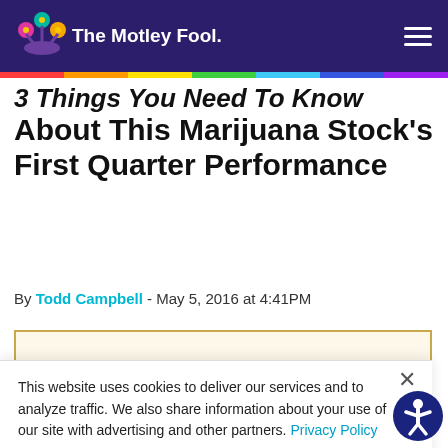The Motley Fool
3 Things You Need To Know About This Marijuana Stock's First Quarter Performance
By Todd Campbell - May 5, 2016 at 4:41PM
This website uses cookies to deliver our services and to analyze traffic. We also share information about your use of our site with advertising and other partners. Privacy Policy
Got it
Cookie Settings